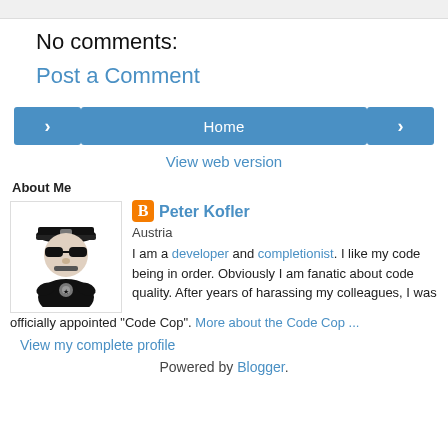No comments:
Post a Comment
< Home >
View web version
About Me
[Figure (photo): Profile photo of a cartoon detective/cop character in black and white]
Peter Kofler
Austria
I am a developer and completionist. I like my code being in order. Obviously I am fanatic about code quality. After years of harassing my colleagues, I was officially appointed "Code Cop". More about the Code Cop ...
View my complete profile
Powered by Blogger.